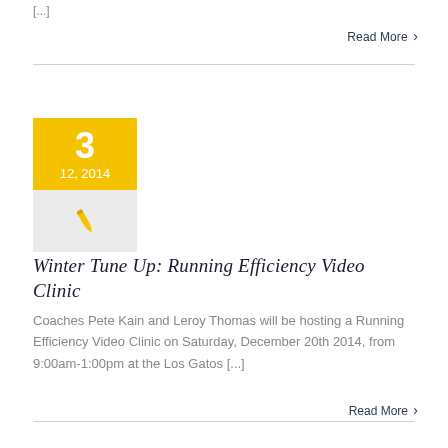[...]
Read More >
[Figure (illustration): Calendar date block showing day 3, month/year 12, 2014 in yellow, with pen icon below on grey background]
Winter Tune Up: Running Efficiency Video Clinic
Coaches Pete Kain and Leroy Thomas will be hosting a Running Efficiency Video Clinic on Saturday, December 20th 2014, from 9:00am-1:00pm at the Los Gatos [...]
Read More >